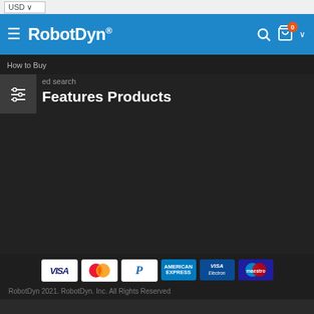USD
[Figure (logo): RobotDyn logo with hamburger menu, search icon, cart icon with 0 badge, and dropdown arrow on blue navigation bar]
How to Buy
ed search
Features Products
[Figure (infographic): Payment method logos: VISA, MasterCard, PayPal, American Express, VISA Electron, Maestro]
RobotDyn 2021. RobotDyn. Inc. All Rights Reserved